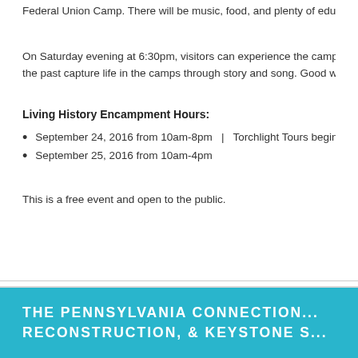Federal Union Camp. There will be music, food, and plenty of educational...
On Saturday evening at 6:30pm, visitors can experience the camps at du... the past capture life in the camps through story and song. Good walking...
Living History Encampment Hours:
September 24, 2016 from 10am-8pm  |  Torchlight Tours begin at 6...
September 25, 2016 from 10am-4pm
This is a free event and open to the public.
THE PENNSYLVANIA CONNECTION... RECONSTRUCTION, & KEYSTONE S...